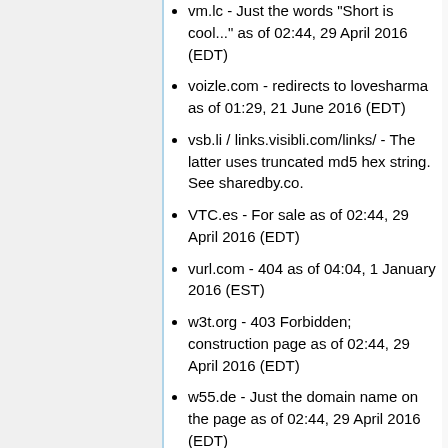vm.lc - Just the words "Short is cool..." as of 02:44, 29 April 2016 (EDT)
voizle.com - redirects to lovesharma as of 01:29, 21 June 2016 (EDT)
vsb.li / links.visibli.com/links/ - The latter uses truncated md5 hex string. See sharedby.co.
VTC.es - For sale as of 02:44, 29 April 2016 (EDT)
vurl.com - 404 as of 04:04, 1 January 2016 (EST)
w3t.org - 403 Forbidden; construction page as of 02:44, 29 April 2016 (EDT)
w55.de - Just the domain name on the page as of 02:44, 29 April 2016 (EDT)
wa.la - For sale as of 02:44, 29 April